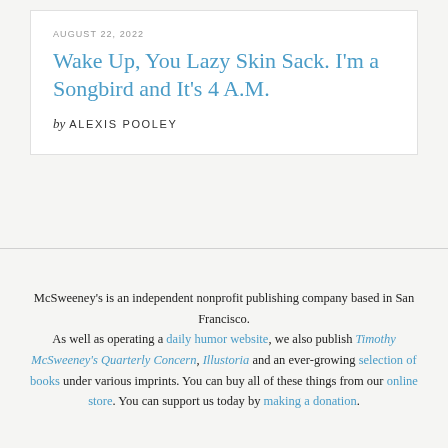AUGUST 22, 2022
Wake Up, You Lazy Skin Sack. I'm a Songbird and It's 4 A.M.
by ALEXIS POOLEY
McSweeney's is an independent nonprofit publishing company based in San Francisco. As well as operating a daily humor website, we also publish Timothy McSweeney's Quarterly Concern, Illustoria and an ever-growing selection of books under various imprints. You can buy all of these things from our online store. You can support us today by making a donation.